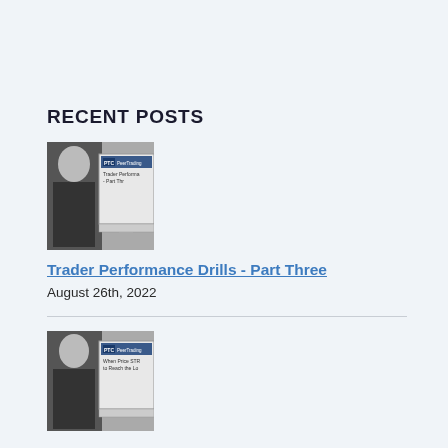RECENT POSTS
[Figure (photo): Black and white photo of a man at a computer with a presentation slide visible showing 'PTC PeerTrading - Trader Performance - Part Thr']
Trader Performance Drills - Part Three
August 26th, 2022
[Figure (photo): Black and white photo of a man at a computer with a presentation slide visible showing 'PTC PeerTrading - When Price STR to Reach the Lo']